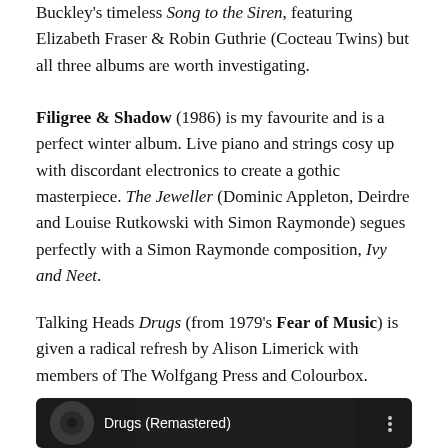Buckley's timeless Song to the Siren, featuring Elizabeth Fraser & Robin Guthrie (Cocteau Twins) but all three albums are worth investigating.
Filigree & Shadow (1986) is my favourite and is a perfect winter album. Live piano and strings cosy up with discordant electronics to create a gothic masterpiece. The Jeweller (Dominic Appleton, Deirdre and Louise Rutkowski with Simon Raymonde) segues perfectly with a Simon Raymonde composition, Ivy and Neet.
Talking Heads Drugs (from 1979's Fear of Music) is given a radical refresh by Alison Limerick with members of The Wolfgang Press and Colourbox.
[Figure (screenshot): YouTube music player screenshot showing 'Drugs (Remastered)' with a dark background featuring a woman's silhouette, a circular album art thumbnail on the left, and a three-dot menu icon on the right.]